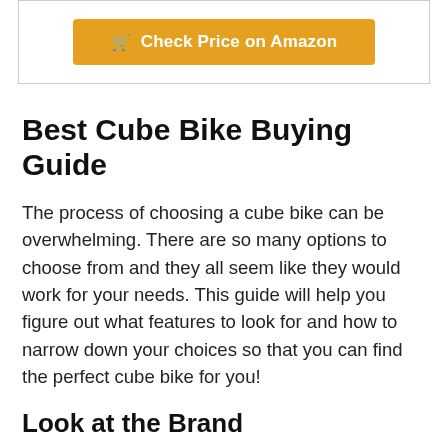[Figure (other): Orange 'Check Price on Amazon' button with shopping cart icon inside a bordered box]
Best Cube Bike Buying Guide
The process of choosing a cube bike can be overwhelming. There are so many options to choose from and they all seem like they would work for your needs. This guide will help you figure out what features to look for and how to narrow down your choices so that you can find the perfect cube bike for you!
Look at the Brand
The first thing you should look at when...